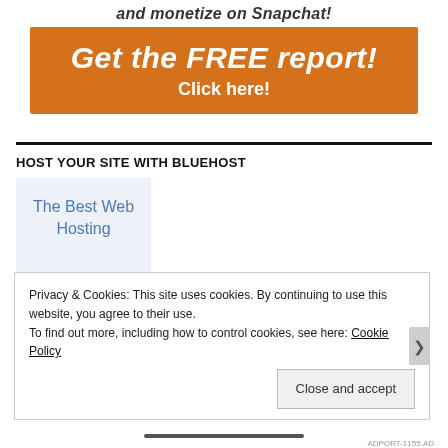and monetize on Snapchat!
[Figure (other): Orange call-to-action button: 'Get the FREE report! Click here!']
HOST YOUR SITE WITH BLUEHOST
[Figure (other): Bluehost widget with light blue background showing 'The Best Web Hosting']
Privacy & Cookies: This site uses cookies. By continuing to use this website, you agree to their use. To find out more, including how to control cookies, see here: Cookie Policy
Close and accept